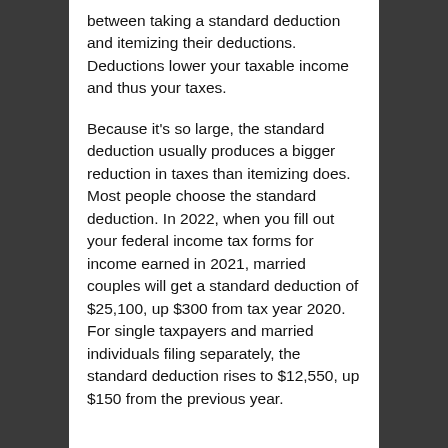between taking a standard deduction and itemizing their deductions. Deductions lower your taxable income and thus your taxes.
Because it’s so large, the standard deduction usually produces a bigger reduction in taxes than itemizing does. Most people choose the standard deduction. In 2022, when you fill out your federal income tax forms for income earned in 2021, married couples will get a standard deduction of $25,100, up $300 from tax year 2020. For single taxpayers and married individuals filing separately, the standard deduction rises to $12,550, up $150 from the previous year.